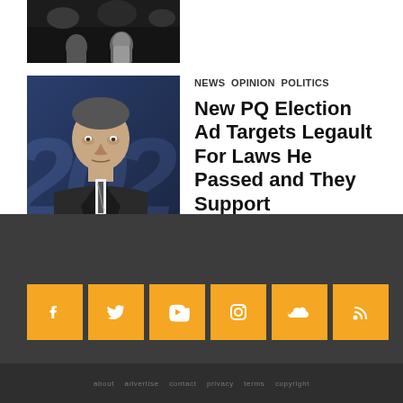[Figure (photo): Partially visible photo at top showing people on a stage or event, dark background]
[Figure (photo): Photo of François Legault in front of large blue numbers (2022 or similar), wearing a dark suit]
NEWS  OPINION  POLITICS
New PQ Election Ad Targets Legault For Laws He Passed and They Support
[Figure (infographic): Dark footer with 6 orange social media icon buttons: Facebook, Twitter, YouTube, Instagram, SoundCloud, RSS feed]